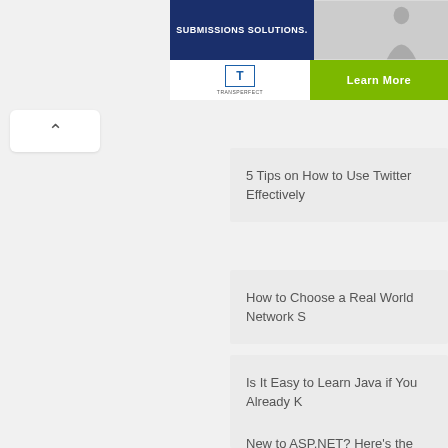[Figure (screenshot): Advertisement banner for TransPerfect with 'SUBMISSIONS SOLUTIONS.' text, logo, and green 'Learn More' button]
[Figure (screenshot): Back navigation button with up arrow caret]
5 Tips on How to Use Twitter Effectively
How to Choose a Real World Network S
Is It Easy to Learn Java if You Already K
New to ASP.NET? Here's the Simplest
Top 5 programming languages commo